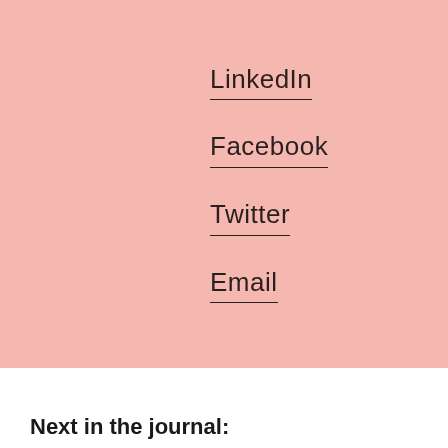LinkedIn
Facebook
Twitter
Email
Next in the journal: